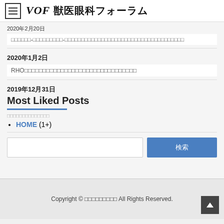VOF 獣医眼科フォーラム
2020年2月20日
□□□□□□-□□□□□□□□□-□□□□□□□□□□□□□□□□□□□□□□□□□□□□□□□□□□□□
2020年1月2日
RHO□□□□□□□□□□□□□□□□□□□□□□□□□□□□□□□
2019年12月31日
Most Liked Posts
HOME (1+)
検索
Copyright © □□□□□□□□□ All Rights Reserved.